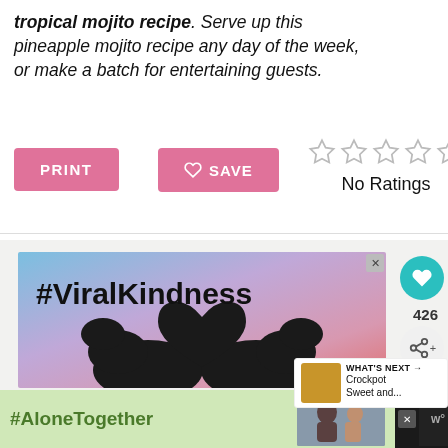tropical mojito recipe. Serve up this pineapple mojito recipe any day of the week, or make a batch for entertaining guests.
PRINT
♡ SAVE
No Ratings
[Figure (screenshot): #ViralKindness advertisement showing two hands forming a heart shape against a sunset sky]
426
WHAT'S NEXT → Crockpot Sweet and...
[Figure (screenshot): #AloneTogether advertisement showing a man and child waving]